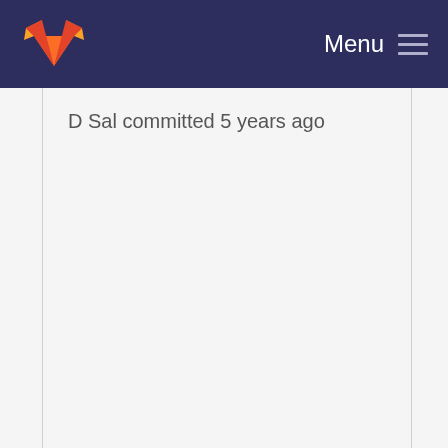[Figure (logo): GitLab fox logo in orange and red on dark navy navigation bar]
Menu
D Sal committed 5 years ago